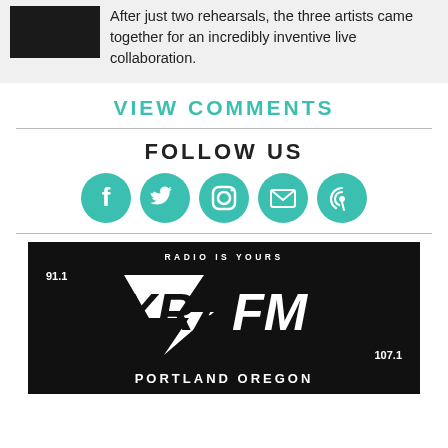After just two rehearsals, the three artists came together for an incredibly inventive live collaboration.
VIEW COMMENTS
FOLLOW US
[Figure (infographic): Five social media icons (Facebook, Twitter, Instagram, Email, and a swirl/radio icon) as teal circular buttons]
[Figure (logo): XRAY FM 91.1 / 107.1 radio station logo on black background with text RADIO IS YOURS arched above and PORTLAND OREGON below]